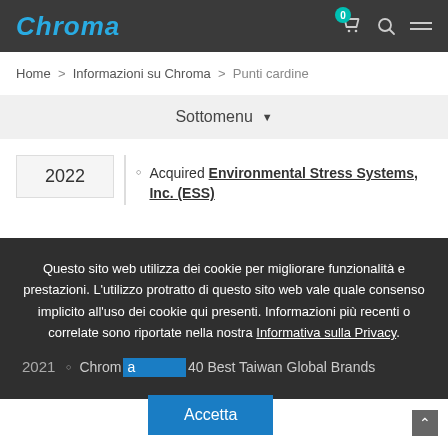Chroma — navigation bar with logo, cart, search, menu
Home > Informazioni su Chroma > Punti cardine
Sottomenu ▼
2022 — Acquired Environmental Stress Systems, Inc. (ESS)
Questo sito web utilizza dei cookie per migliorare funzionalità e prestazioni. L'utilizzo protratto di questo sito web vale quale consenso implicito all'uso dei cookie qui presenti. Informazioni più recenti o correlate sono riportate nella nostra Informativa sulla Privacy.
Accetta
Chroma [obscured] 40 Best Taiwan Global Brands